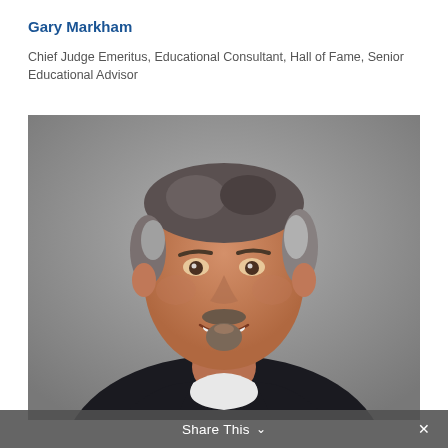Gary Markham
Chief Judge Emeritus, Educational Consultant, Hall of Fame, Senior Educational Advisor
[Figure (photo): Professional headshot of Gary Markham, a middle-aged man with salt-and-pepper hair and a goatee, smiling, wearing a dark suit, against a gray background.]
Share This ∨ ✕